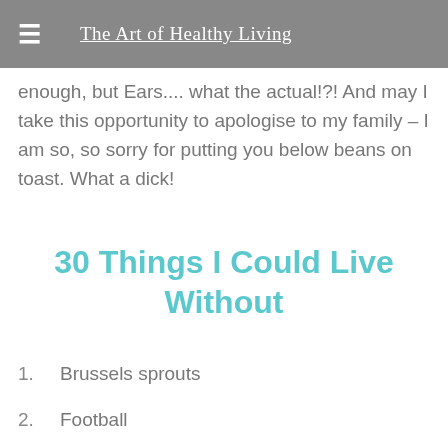The Art of Healthy Living
Well the order of this list is bad enough, but Ears.... what the actual!?! And may I take this opportunity to apologise to my family – I am so, so sorry for putting you below beans on toast. What a dick!
30 Things I Could Live Without
1. Brussels sprouts
2. Football
3. Models
4. James Bond Junior
5. Timothy and Wilfred (you'd